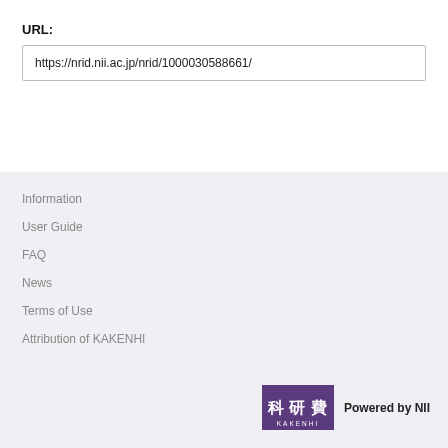URL:
https://nrid.nii.ac.jp/nrid/1000030588661/
Information
User Guide
FAQ
News
Terms of Use
Attribution of KAKENHI
[Figure (logo): KAKENHI logo with purple background and Japanese characters 科研費, with text 'Powered by NII']